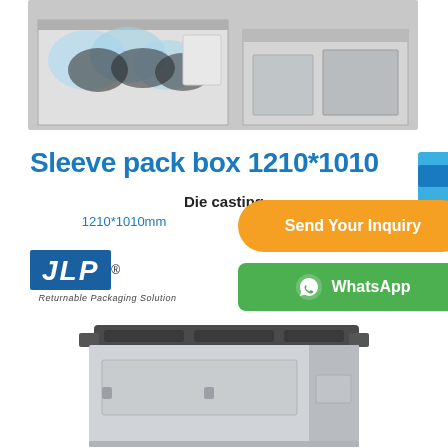[Figure (photo): Top photo showing plastic bags inside a metal/cardboard box container]
Sleeve pack box 1210*1010
Die casting
1210*1010mm
[Figure (logo): JLP logo - Returnable Packaging Solution]
[Figure (infographic): Orange button: Send Your Inquiry]
[Figure (infographic): Green WhatsApp button]
[Figure (photo): Product photo of sleeve pack box with dark lid - steel/plastic collapsible container]